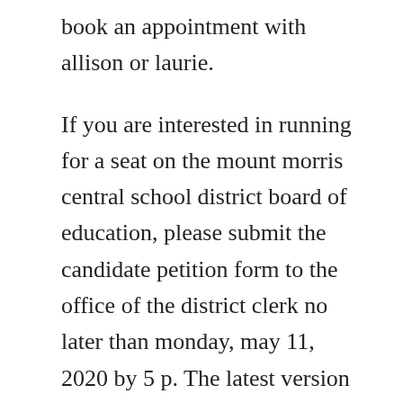book an appointment with allison or laurie. If you are interested in running for a seat on the mount morris central school district board of education, please submit the candidate petition form to the office of the district clerk no later than monday, may 11, 2020 by 5 p. The latest version of the mikroc pro for pic is always available for downloading. Release specific processor sdk linux documentation. Typingclub now includes a school portal available for free. Developing responsible, productive, lifelong learners for a changing